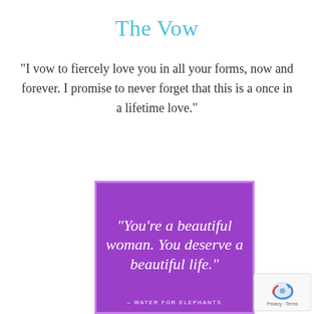The Vow
“I vow to fiercely love you in all your forms, now and forever. I promise to never forget that this is a once in a lifetime love.”
[Figure (illustration): Purple card with cursive white text reading: “You’re a beautiful woman. You deserve a beautiful life.” with attribution – WATER FOR ELEPHANTS]
[Figure (logo): reCAPTCHA badge with arrow icon and Privacy - Terms text]